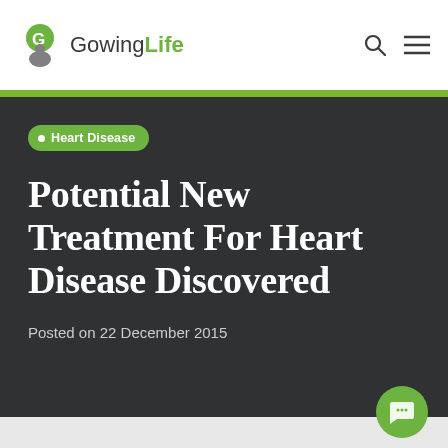Gowing Life
Heart Disease
Potential New Treatment For Heart Disease Discovered
Posted on 22 December 2015